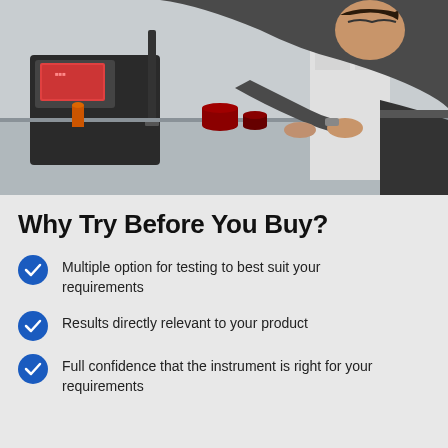[Figure (photo): A man wearing glasses and a dark grey shirt leaning over a lab testing instrument (Samatek or similar), operating a flat circular test plate on a laboratory bench. Small colored sample cups visible in foreground.]
Why Try Before You Buy?
Multiple option for testing to best suit your requirements
Results directly relevant to your product
Full confidence that the instrument is right for your requirements